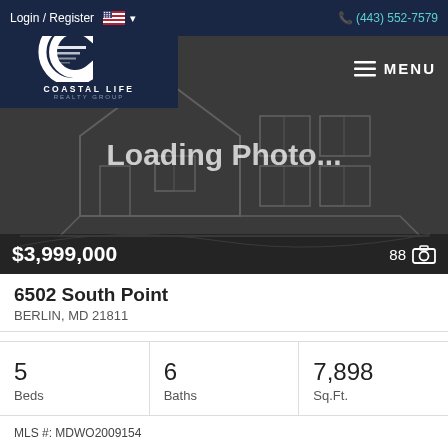Login / Register   (443) 552-7579
[Figure (logo): Coastal Life Realty Group logo — white stylized C with horizontal lines, text COASTAL LIFE REALTY GROUP on dark navy background]
MENU
[Figure (photo): Loading Photo... placeholder image showing a house outline on dark grey background. Price $3,999,000 shown bottom left. 88 photos count shown bottom right.]
6502 South Point
BERLIN, MD 21811
| Beds | Baths | Sq.Ft. |
| --- | --- | --- |
| 5 | 6 | 7,898 |
MLS #: MDWO2009154